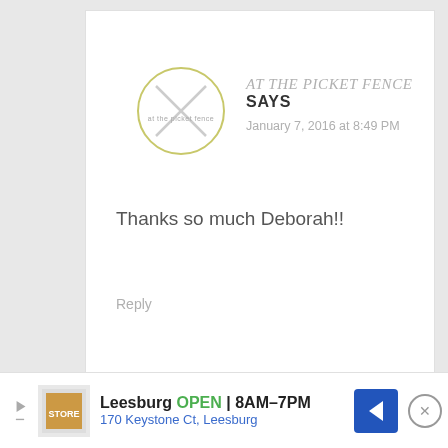[Figure (logo): Circular logo with X mark inside, yellow-green border, for 'At The Picket Fence' blog]
AT THE PICKET FENCE SAYS
January 7, 2016 at 8:49 PM
Thanks so much Deborah!!
Reply
[Figure (photo): Partially visible avatar image for Anita]
ANITA SAYS
Leesburg OPEN 8AM-7PM 170 Keystone Ct, Leesburg